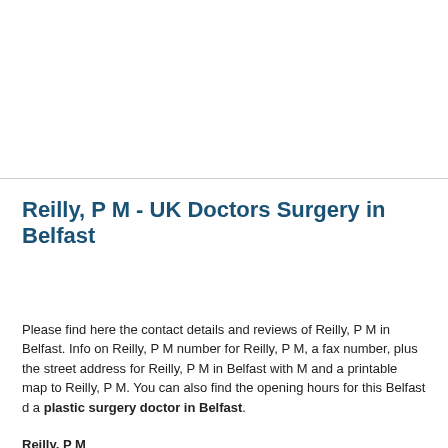Reilly, P M - UK Doctors Surgery in Belfast
Please find here the contact details and reviews of Reilly, P M in Belfast. Info on Reilly, P M number for Reilly, P M, a fax number, plus the street address for Reilly, P M in Belfast with M and a printable map to Reilly, P M. You can also find the opening hours for this Belfast d a plastic surgery doctor in Belfast.
Reilly, P M